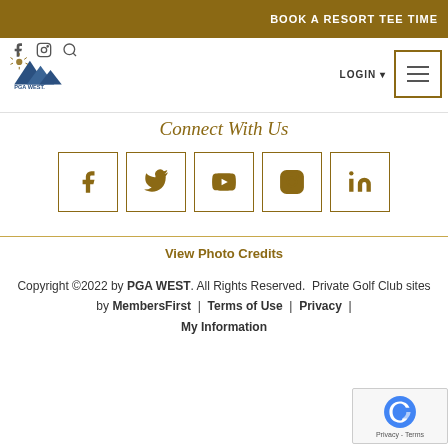BOOK A RESORT TEE TIME
[Figure (logo): PGA WEST logo with mountain graphic]
Connect With Us
[Figure (infographic): Row of 5 social media icon boxes: Facebook, Twitter, YouTube, Instagram, LinkedIn]
View Photo Credits
Copyright ©2022 by PGA WEST. All Rights Reserved. Private Golf Club sites by MembersFirst | Terms of Use | Privacy | My Information